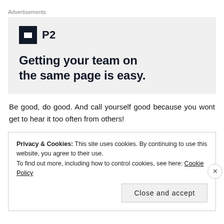Advertisements
[Figure (logo): P2 logo with black square icon containing a white rectangle symbol, followed by bold text 'P2'. Below: bold tagline 'Getting your team on the same page is easy.']
Be good, do good. And call yourself good because you wont get to hear it too often from others!
Privacy & Cookies: This site uses cookies. By continuing to use this website, you agree to their use. To find out more, including how to control cookies, see here: Cookie Policy
Close and accept